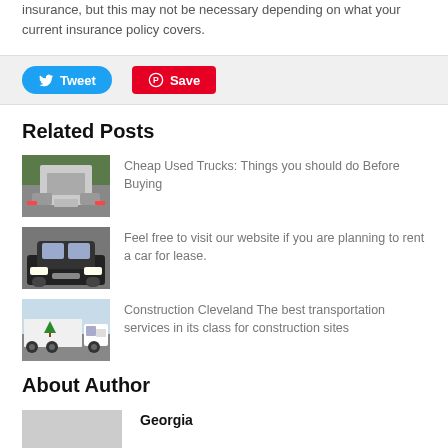insurance, but this may not be necessary depending on what your current insurance policy covers.
[Figure (other): Social sharing buttons: Tweet (Twitter) and Save (Pinterest)]
Related Posts
[Figure (photo): Photo of a pickup truck from behind on a road]
Cheap Used Trucks: Things you should do Before Buying
[Figure (photo): Photo of a dark sedan car from the front]
Feel free to visit our website if you are planning to rent a car for lease.
[Figure (photo): Photo of a white semi-truck with green tree logo]
Construction Cleveland The best transportation services in its class for construction sites
About Author
[Figure (photo): Author profile photo placeholder]
Georgia